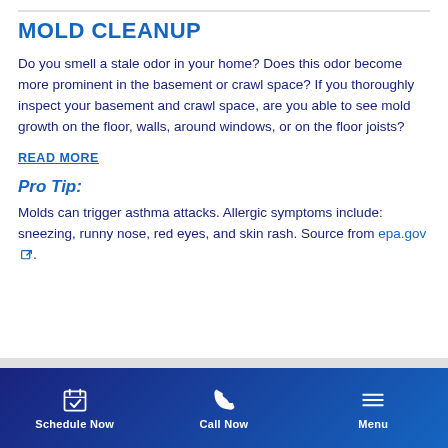MOLD CLEANUP
Do you smell a stale odor in your home? Does this odor become more prominent in the basement or crawl space? If you thoroughly inspect your basement and crawl space, are you able to see mold growth on the floor, walls, around windows, or on the floor joists?
READ MORE
Pro Tip:
Molds can trigger asthma attacks. Allergic symptoms include: sneezing, runny nose, red eyes, and skin rash. Source from epa.gov.
Schedule Now  Call Now  Menu